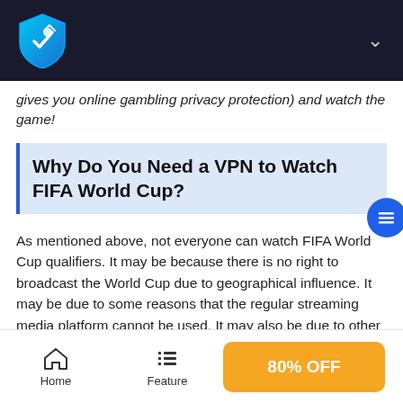IvacyVPN logo and navigation header
gives you online gambling privacy protection) and watch the game!
Why Do You Need a VPN to Watch FIFA World Cup?
As mentioned above, not everyone can watch FIFA World Cup qualifiers. It may be because there is no right to broadcast the World Cup due to geographical influence. It may be due to some reasons that the regular streaming media platform cannot be used. It may also be due to other reasons. The best solution is to use VPN. So why is it? It's defined as the establishment of a temporary and secure connection through a public network (usually the Internet)
Home  Feature  80% OFF